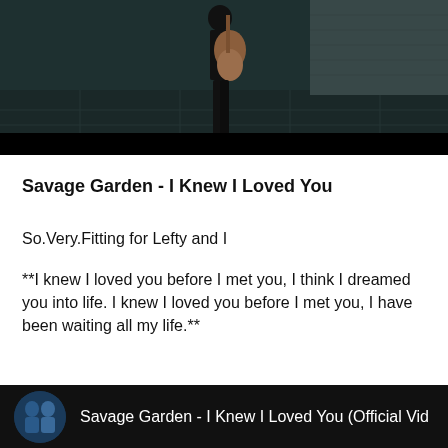[Figure (screenshot): Video thumbnail showing a person holding a guitar standing on a dark street, with a black bar at the bottom]
Savage Garden - I Knew I Loved You
So.Very.Fitting for Lefty and I
**I knew I loved you before I met you, I think I dreamed you into life. I knew I loved you before I met you, I have been waiting all my life.**
[Figure (screenshot): YouTube video bar showing avatar of Savage Garden duo and video title: Savage Garden - I Knew I Loved You (Official Vid]